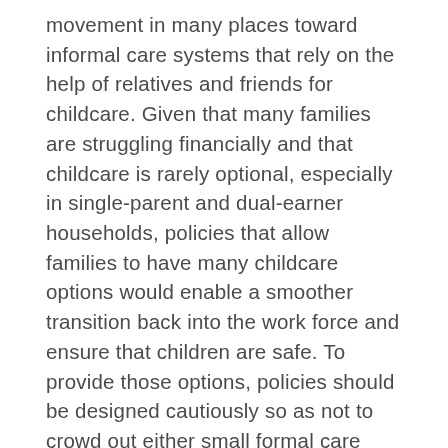movement in many places toward informal care systems that rely on the help of relatives and friends for childcare. Given that many families are struggling financially and that childcare is rarely optional, especially in single-parent and dual-earner households, policies that allow families to have many childcare options would enable a smoother transition back into the work force and ensure that children are safe. To provide those options, policies should be designed cautiously so as not to crowd out either small formal care centers or informal care networks. That way families can look to cost-effective, community-based care if they prefer that style of caregiving.
Looking beyond the next few months, the market will adapt to this new reality. The mismatch between supply and demand will draw new